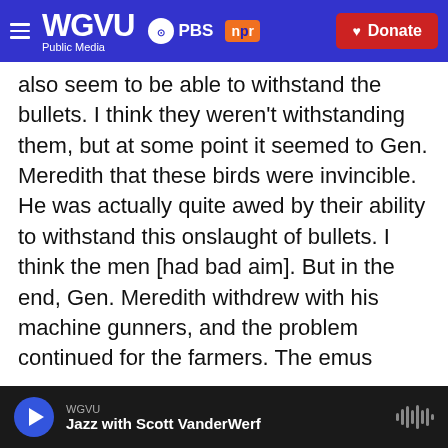WGVU Public Media | PBS | npr | Donate
also seem to be able to withstand the bullets. I think they weren't withstanding them, but at some point it seemed to Gen. Meredith that these birds were invincible. He was actually quite awed by their ability to withstand this onslaught of bullets. I think the men [had bad aim]. But in the end, Gen. Meredith withdrew with his machine gunners, and the problem continued for the farmers. The emus basically won.
Sam Briger and Kayla Lattimore produced and edited the audio of this interview. Bridget Bentz, Molly Seavy-Nesper and Deborah Franklin adapted
WGVU | Jazz with Scott VanderWerf